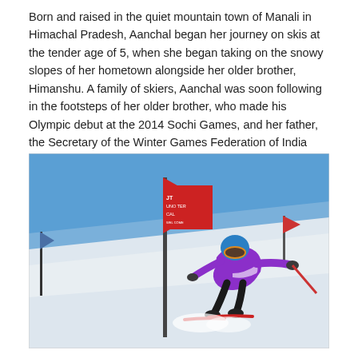Born and raised in the quiet mountain town of Manali in Himachal Pradesh, Aanchal began her journey on skis at the tender age of 5, when she began taking on the snowy slopes of her hometown alongside her older brother, Himanshu. A family of skiers, Aanchal was soon following in the footsteps of her older brother, who made his Olympic debut at the 2014 Sochi Games, and her father, the Secretary of the Winter Games Federation of India (WGFI), taking on the sport as her own.
[Figure (photo): A skier in a purple jacket and blue helmet racing down a snowy slope, leaning hard around a red gate/flag pole. The background shows bright blue sky, snow-covered slope, and a red banner. Other colored flags are visible in the background.]